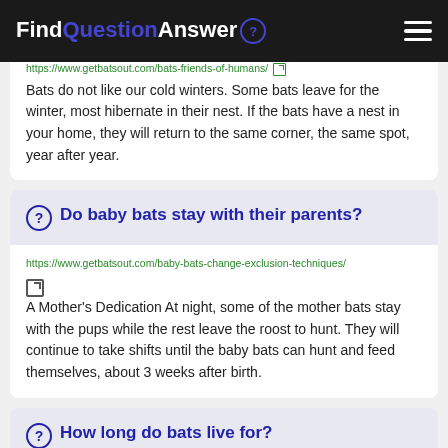FindQuestionAnswer
https://www.getbatsout.com/bats-friends-of-humans/
Bats do not like our cold winters. Some bats leave for the winter, most hibernate in their nest. If the bats have a nest in your home, they will return to the same corner, the same spot, year after year.
Do baby bats stay with their parents?
https://www.getbatsout.com/baby-bats-change-exclusion-techniques/
A Mother's Dedication At night, some of the mother bats stay with the pups while the rest leave the roost to hunt. They will continue to take shifts until the baby bats can hunt and feed themselves, about 3 weeks after birth.
How long do bats live for?